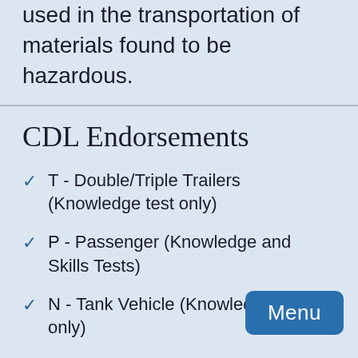used in the transportation of materials found to be hazardous.
CDL Endorsements
T - Double/Triple Trailers (Knowledge test only)
P - Passenger (Knowledge and Skills Tests)
N - Tank Vehicle (Knowledge only)